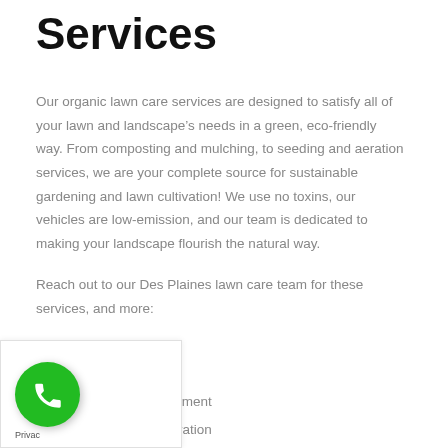Services
Our organic lawn care services are designed to satisfy all of your lawn and landscape’s needs in a green, eco-friendly way. From composting and mulching, to seeding and aeration services, we are your complete source for sustainable gardening and lawn cultivation! We use no toxins, our vehicles are low-emission, and our team is dedicated to making your landscape flourish the natural way.
Reach out to our Des Plaines lawn care team for these services, and more:
Natural weed management
Lawn seeding and aeration